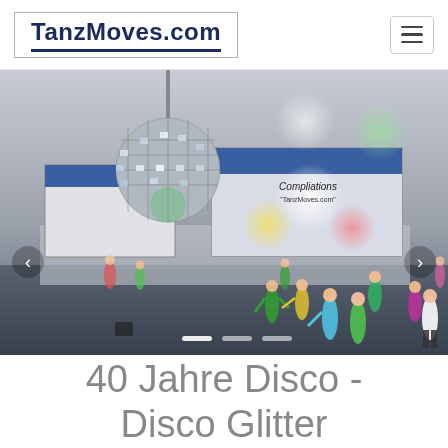TanzMoves.com
[Figure (screenshot): A 3D rendered dance studio with a disco ball, colored spotlight circles (white, green, yellow, pink), three large screens showing 'Compliations TanzMoves.com' and 'Herzlich Willkommen TanzMoves.com', animated dancer figures, navigation arrows, and carousel dots at the bottom.]
40 Jahre Disco - Disco Glitter